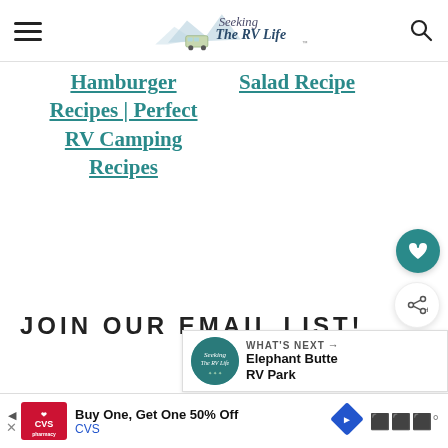Seeking The RV Life — site header with hamburger menu and search icon
Hamburger Recipes | Perfect RV Camping Recipes
Salad Recipe
JOIN OUR EMAIL LIST!
WHAT'S NEXT → Elephant Butte RV Park
[Figure (screenshot): CVS advertisement: Buy One, Get One 50% Off — CVS]
[Figure (infographic): Floating action buttons: heart (favorite) and share]